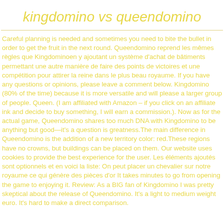kingdomino vs queendomino
Careful planning is needed and sometimes you need to bite the bullet in order to get the fruit in the next round. Queendomino reprend les mêmes règles que Kingdominoen y ajoutant un système d'achat de bâtiments permettant une autre manière de faire des points de victoires et une compétition pour attirer la reine dans le plus beau royaume. If you have any questions or opinions, please leave a comment below. Kingdomino (80% of the time) because it is more versatile and will please a larger group of people. Queen. (I am affiliated with Amazon – if you click on an affiliate ink and decide to buy something, I will earn a commission.). Now as for the actual game, Queendomino shares too much DNA with Kingdomino to be anything but good—it's a question is greatness.The main difference in Queendomino is the addition of a new territory color: red.These regions have no crowns, but buildings can be placed on them. Our website uses cookies to provide the best experience for the user. Les éléments ajoutés sont optionnels et en voici la liste: On peut placer un chevalier sur notre royaume ce qui génère des pièces d'or It takes minutes to go from opening the game to enjoying it. Review: As a BIG fan of Kingdomino I was pretty skeptical about the release of Queendomino. It's a light to medium weight euro. It's hard to make a direct comparison.